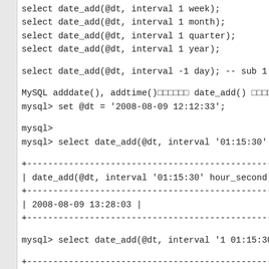select date_add(@dt, interval 1 week);
select date_add(@dt, interval 1 month);
select date_add(@dt, interval 1 quarter);
select date_add(@dt, interval 1 year);
select date_add(@dt, interval -1 day); -- sub 1 day
MySQL adddate(), addtime() date_add() date_add
mysql> set @dt = '2008-08-09 12:12:33';
mysql>
mysql> select date_add(@dt, interval '01:15:30' hour_second
+--------------------------------------------------+
| date_add(@dt, interval '01:15:30' hour_second) |
+--------------------------------------------------+
| 2008-08-09 13:28:03 |
+--------------------------------------------------+
mysql> select date_add(@dt, interval '1 01:15:30' day_second
+--------------------------------------------------+